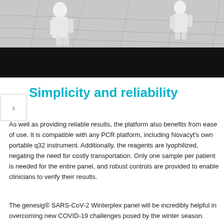[Figure (photo): People in white protective suits walking on a white tiled floor in a laboratory or cleanroom setting, with a large black band at the bottom of the image.]
Simplicity and reliability
As well as providing reliable results, the platform also benefits from ease of use. It is compatible with any PCR platform, including Novacyt's own portable q32 instrument. Additionally, the reagents are lyophilized, negating the need for costly transportation. Only one sample per patient is needed for the entire panel, and robust controls are provided to enable clinicians to verify their results.
The genesig® SARS-CoV-2 Winterplex panel will be incredibly helpful in overcoming new COVID-19 challenges posed by the winter season.